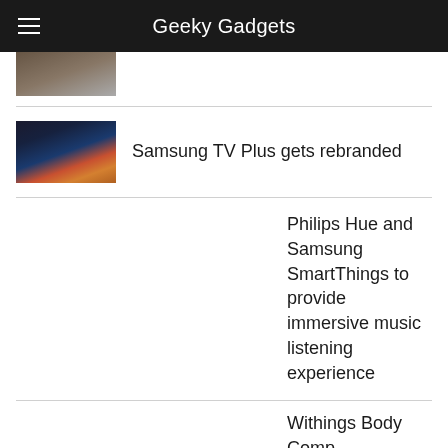Geeky Gadgets
[Figure (screenshot): Partial thumbnail of an article image, cropped at top]
Samsung TV Plus gets rebranded
Philips Hue and Samsung SmartThings to provide immersive music listening experience
Withings Body Comp